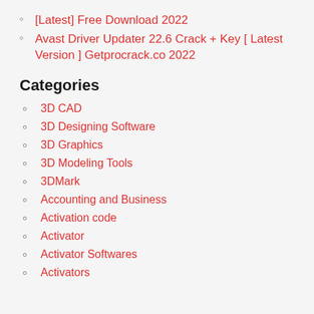[Latest] Free Download 2022
Avast Driver Updater 22.6 Crack + Key [ Latest Version ] Getprocrack.co 2022
Categories
3D CAD
3D Designing Software
3D Graphics
3D Modeling Tools
3DMark
Accounting and Business
Activation code
Activator
Activator Softwares
Activators